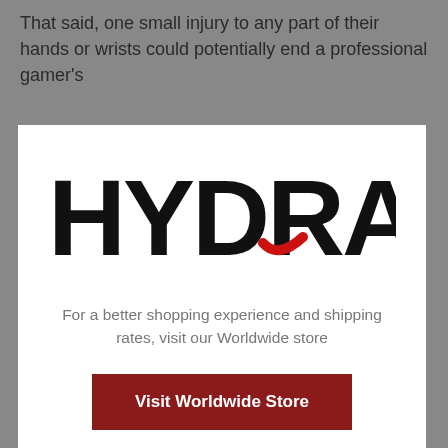That said, one small injury to any part of their hands or wrists could potentially end a professional gamer's
[Figure (logo): HYDRAGUN brand logo in large bold black text with a red swoosh accent under the letter G]
For a better shopping experience and shipping rates, visit our Worldwide store
Visit Worldwide Store
No thanks, stay here
[Figure (photo): Dark background image showing a person in a red jersey at the bottom of the page]